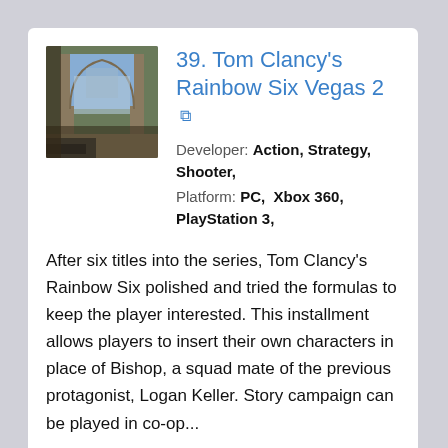[Figure (photo): Screenshot thumbnail from Tom Clancy's Rainbow Six Vegas 2 game showing a first-person perspective in a building with an arched doorway]
39. Tom Clancy's Rainbow Six Vegas 2
Developer: Action, Strategy, Shooter,
Platform: PC, Xbox 360, PlayStation 3,
After six titles into the series, Tom Clancy's Rainbow Six polished and tried the formulas to keep the player interested. This installment allows players to insert their own characters in place of Bishop, a squad mate of the previous protagonist, Logan Keller. Story campaign can be played in co-op...
View Similar Games